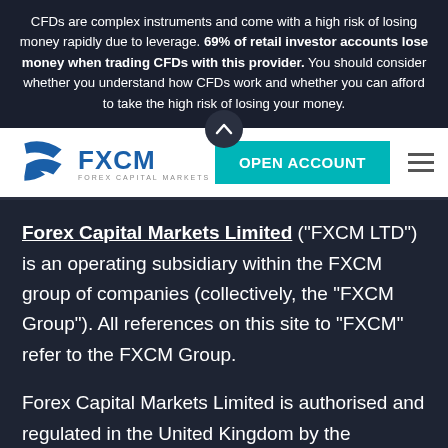CFDs are complex instruments and come with a high risk of losing money rapidly due to leverage. 69% of retail investor accounts lose money when trading CFDs with this provider. You should consider whether you understand how CFDs work and whether you can afford to take the high risk of losing your money.
[Figure (logo): FXCM (Forex Capital Markets) logo with blue swoosh icon and blue FXCM text, alongside a teal 'OPEN ACCOUNT' button and hamburger menu icon]
Forex Capital Markets Limited ("FXCM LTD") is an operating subsidiary within the FXCM group of companies (collectively, the "FXCM Group"). All references on this site to "FXCM" refer to the FXCM Group.
Forex Capital Markets Limited is authorised and regulated in the United Kingdom by the Financial Conduct Authority. Registration number: 217793.